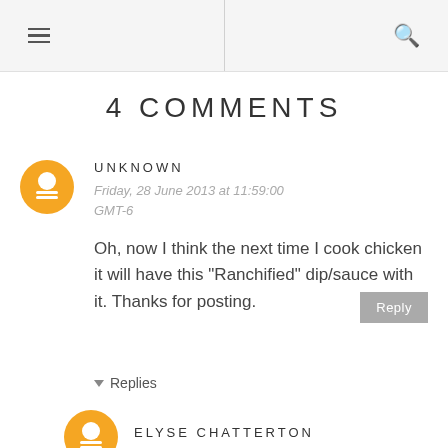≡  🔍
4 COMMENTS
UNKNOWN
Friday, 28 June 2013 at 11:59:00 GMT-6

Oh, now I think the next time I cook chicken it will have this "Ranchified" dip/sauce with it. Thanks for posting.
▾ Replies
ELYSE CHATTERTON